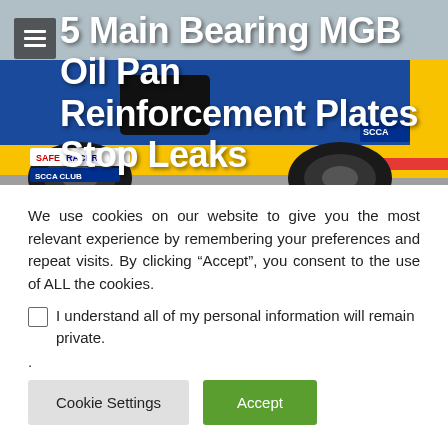[Figure (photo): Racing car photo — a blue and yellow SCCA club race car with SafeRacer and SCCA Club Racing stickers, damaged front end, low profile race tires, on a race track. Overlaid with a dark menu icon (hamburger) in the top-left corner.]
5 Main Bearing MGB Oil Pan Reinforcement Plates Stop Leaks
We use cookies on our website to give you the most relevant experience by remembering your preferences and repeat visits. By clicking “Accept”, you consent to the use of ALL the cookies.
I understand all of my personal information will remain private.
.
Cookie Settings | Accept